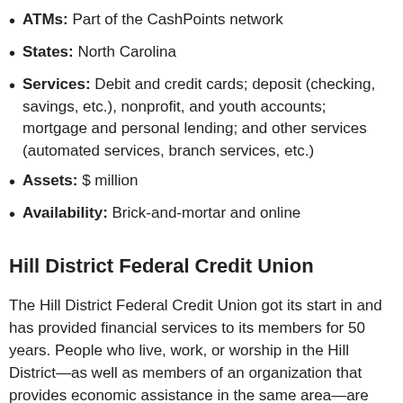ATMs: Part of the CashPoints network
States: North Carolina
Services: Debit and credit cards; deposit (checking, savings, etc.), nonprofit, and youth accounts; mortgage and personal lending; and other services (automated services, branch services, etc.)
Assets: $ million
Availability: Brick-and-mortar and online
Hill District Federal Credit Union
The Hill District Federal Credit Union got its start in and has provided financial services to its members for 50 years. People who live, work, or worship in the Hill District—as well as members of an organization that provides economic assistance in the same area—are eligible to join this